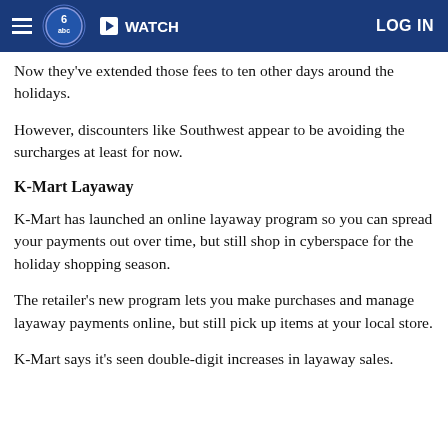WATCH | LOG IN
Now they've extended those fees to ten other days around the holidays.
However, discounters like Southwest appear to be avoiding the surcharges at least for now.
K-Mart Layaway
K-Mart has launched an online layaway program so you can spread your payments out over time, but still shop in cyberspace for the holiday shopping season.
The retailer's new program lets you make purchases and manage layaway payments online, but still pick up items at your local store.
K-Mart says it's seen double-digit increases in layaway sales.